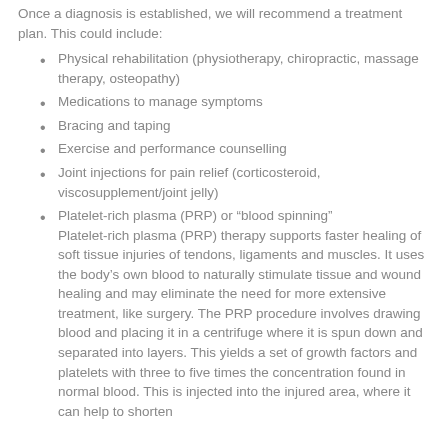Once a diagnosis is established, we will recommend a treatment plan. This could include:
Physical rehabilitation (physiotherapy, chiropractic, massage therapy, osteopathy)
Medications to manage symptoms
Bracing and taping
Exercise and performance counselling
Joint injections for pain relief (corticosteroid, viscosupplement/joint jelly)
Platelet-rich plasma (PRP) or “blood spinning” Platelet-rich plasma (PRP) therapy supports faster healing of soft tissue injuries of tendons, ligaments and muscles. It uses the body’s own blood to naturally stimulate tissue and wound healing and may eliminate the need for more extensive treatment, like surgery. The PRP procedure involves drawing blood and placing it in a centrifuge where it is spun down and separated into layers. This yields a set of growth factors and platelets with three to five times the concentration found in normal blood. This is injected into the injured area, where it can help to shorten